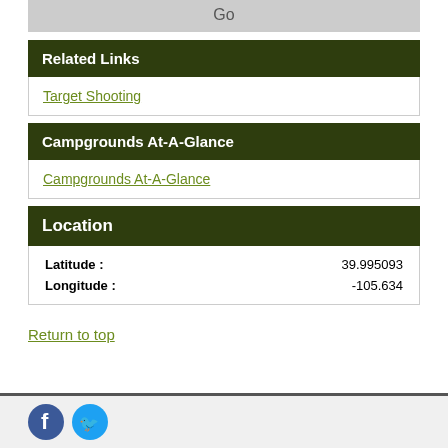Go
Related Links
Target Shooting
Campgrounds At-A-Glance
Campgrounds At-A-Glance
Location
| Field | Value |
| --- | --- |
| Latitude : | 39.995093 |
| Longitude : | -105.634 |
Return to top